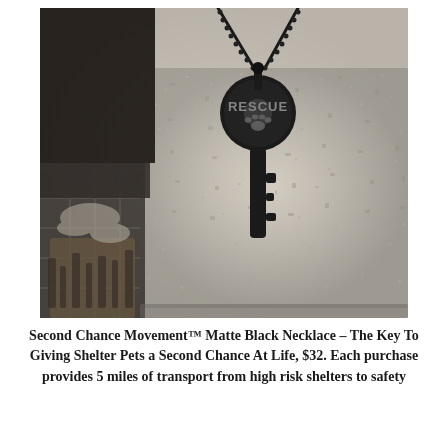[Figure (photo): A matte black key-shaped necklace with the word RESCUE and a paw print on the circular head, resting on a rough stone/concrete block surface. A ball chain necklace is attached. The background is a grainy concrete texture. Some metallic rod elements visible on the left side.]
Second Chance Movement™ Matte Black Necklace – The Key To Giving Shelter Pets a Second Chance At Life, $32. Each purchase provides 5 miles of transport from high risk shelters to safety